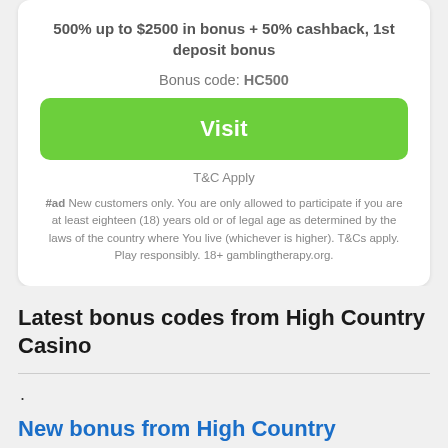500% up to $2500 in bonus + 50% cashback, 1st deposit bonus
Bonus code: HC500
Visit
T&C Apply
#ad New customers only. You are only allowed to participate if you are at least eighteen (18) years old or of legal age as determined by the laws of the country where You live (whichever is higher). T&Cs apply. Play responsibly. 18+ gamblingtherapy.org.
Latest bonus codes from High Country Casino
.
New bonus from High Country